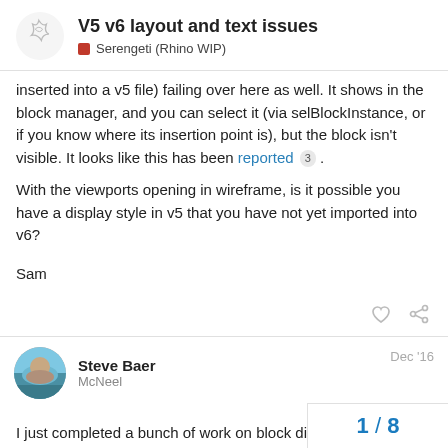V5 v6 layout and text issues | Serengeti (Rhino WIP)
inserted into a v5 file) failing over here as well. It shows in the block manager, and you can select it (via selBlockInstance, or if you know where its insertion point is), but the block isn't visible. It looks like this has been reported 3 .
With the viewports opening in wireframe, is it possible you have a display style in v5 that you have not yet imported into v6?
Sam
Steve Baer Dec '16 McNeel
I just completed a bunch of work on block display over the last few days. Please let me know if you are still seeing oddities in the display with the next WIP (probably av
1 / 8